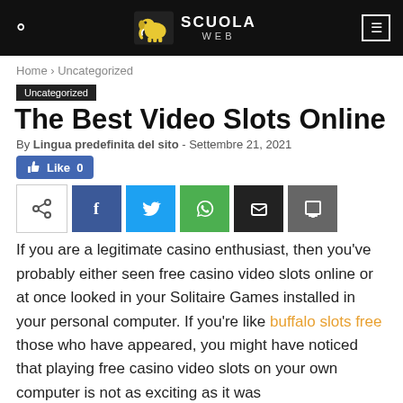SCUOLA WEB
Home › Uncategorized
Uncategorized
The Best Video Slots Online
By Lingua predefinita del sito - Settembre 21, 2021
[Figure (infographic): Like button and social sharing icons row (Like 0, share, Facebook, Twitter, WhatsApp, email, print)]
If you are a legitimate casino enthusiast, then you've probably either seen free casino video slots online or at once looked in your Solitaire Games installed in your personal computer. If you're like buffalo slots free those who have appeared, you might have noticed that playing free casino video slots on your own computer is not as exciting as it was